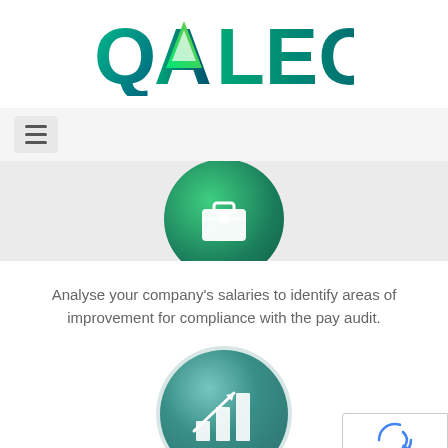[Figure (logo): QALEON company logo with colorful gradient triangle/Q mark and teal letters]
[Figure (infographic): Hamburger menu icon (three horizontal lines) on a light gray background bar]
[Figure (illustration): Green gradient circular icon with a briefcase/toolbox symbol, partially visible at top of gray section]
Analyse your company's salaries to identify areas of improvement for compliance with the pay audit.
[Figure (illustration): Teal/dark green gradient circular icon with a bar chart and arrow going up symbol, partially visible at bottom]
[Figure (other): Google reCAPTCHA privacy badge with spinning arrows icon and Privacy - Terms text]